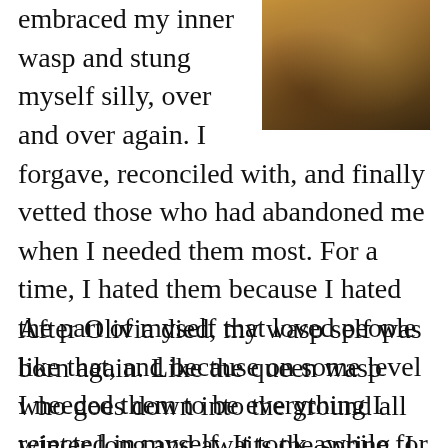[Figure (photo): Partial photo of a person with long hair, warm amber and brown tones, top-right corner of page]
embraced my inner wasp and stung myself silly, over and over again. I forgave, reconciled with, and finally vetted those who had abandoned me when I needed them most. For a time, I hated them because I hated the part of myself that loved people like that, and because on some level I needed them to be everything I rejected in myself. It took awhile for me to let go lovingly.
After Olivia died, my wasp self was born again. Like the queen wasp who goes down into the ground all winter long and awaits the spring, I went down into the cold and